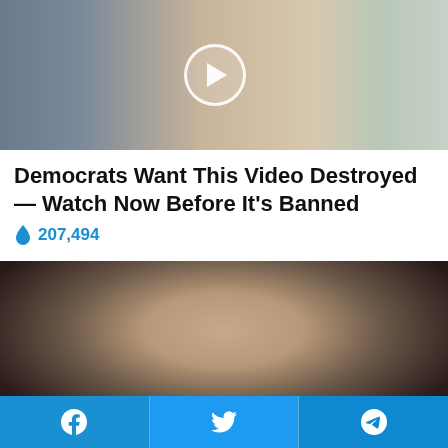[Figure (photo): Video thumbnail showing people walking along a covered walkway/colonnade. A play button circle is overlaid in the center of the image.]
Democrats Want This Video Destroyed — Watch Now Before It's Banned
🔥 207,494
[Figure (photo): Photo of an older white-haired man in a dark suit with a blue tie, speaking or posing in front of an American flag and what appears to be a presidential seal flag, with a wooden door in the background.]
Facebook | Twitter | Telegram social share bar